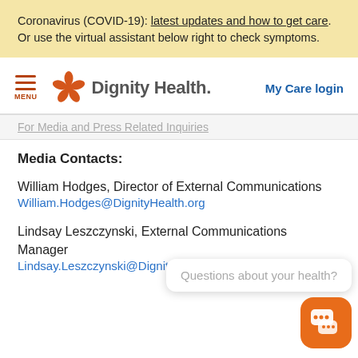Coronavirus (COVID-19): latest updates and how to get care. Or use the virtual assistant below right to check symptoms.
[Figure (logo): Dignity Health logo with orange flower icon and text 'Dignity Health.' plus 'My Care login' link and hamburger menu]
For Media and Press Related Inquiries
Media Contacts:
William Hodges, Director of External Communications
William.Hodges@DignityHealth.org
Lindsay Leszczynski, External Communications Manager
Lindsay.Leszczynski@DignityHealth.org
[Figure (screenshot): Chat widget with 'Questions about your health?' bubble and orange chat button]